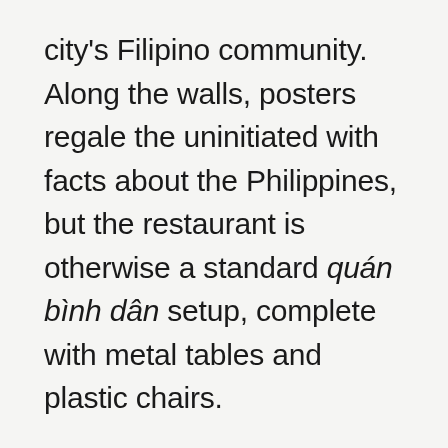city's Filipino community. Along the walls, posters regale the uninitiated with facts about the Philippines, but the restaurant is otherwise a standard quán bình dân setup, complete with metal tables and plastic chairs.
One day mid-week, we came around for lunch. Loriekot's menu is packed with Filipino dishes, which it serves from morning to night, including silog (a meal featuring fried rice and fried egg), sisia